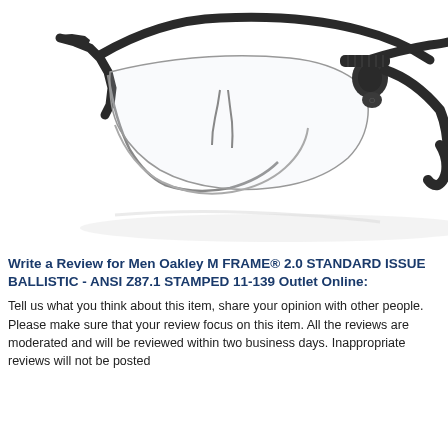[Figure (photo): Product photo of Oakley M FRAME 2.0 Standard Issue Ballistic safety glasses with black frame and clear lenses, shown at an angle on a white background with subtle reflection.]
Write a Review for Men Oakley M FRAME® 2.0 STANDARD ISSUE BALLISTIC - ANSI Z87.1 STAMPED 11-139 Outlet Online:
Tell us what you think about this item, share your opinion with other people. Please make sure that your review focus on this item. All the reviews are moderated and will be reviewed within two business days. Inappropriate reviews will not be posted